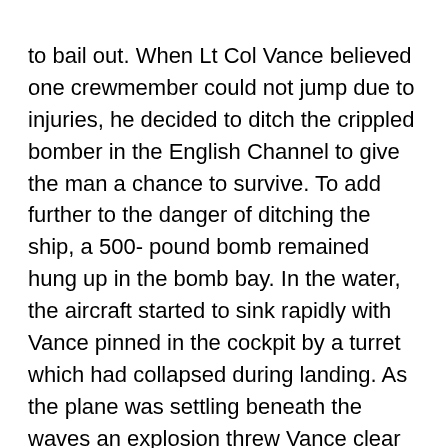to bail out. When Lt Col Vance believed one crewmember could not jump due to injuries, he decided to ditch the crippled bomber in the English Channel to give the man a chance to survive. To add further to the danger of ditching the ship, a 500- pound bomb remained hung up in the bomb bay. In the water, the aircraft started to sink rapidly with Vance pinned in the cockpit by a turret which had collapsed during landing. As the plane was settling beneath the waves an explosion threw Vance clear of the wreckage.
Lt Col Vance received the Medal of Honor for his actions. He was killed when the aircraft returning him home disappeared over the